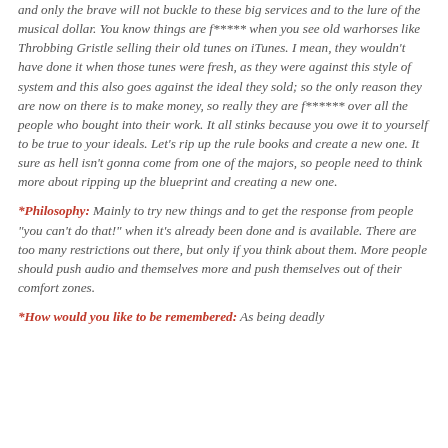and only the brave will not buckle to these big services and to the lure of the musical dollar. You know things are f***** when you see old warhorses like Throbbing Gristle selling their old tunes on iTunes. I mean, they wouldn't have done it when those tunes were fresh, as they were against this style of system and this also goes against the ideal they sold; so the only reason they are now on there is to make money, so really they are f****** over all the people who bought into their work. It all stinks because you owe it to yourself to be true to your ideals. Let's rip up the rule books and create a new one. It sure as hell isn't gonna come from one of the majors, so people need to think more about ripping up the blueprint and creating a new one.
*Philosophy: Mainly to try new things and to get the response from people "you can't do that!" when it's already been done and is available. There are too many restrictions out there, but only if you think about them. More people should push audio and themselves more and push themselves out of their comfort zones.
*How would you like to be remembered: As being deadly serious...